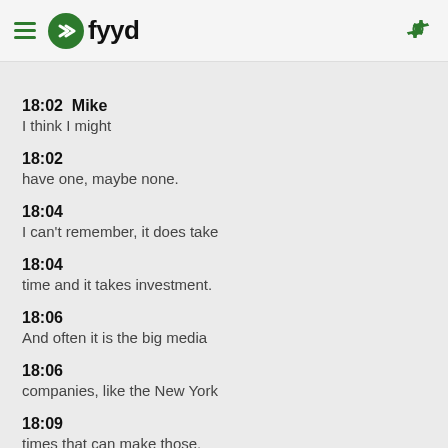fyyd
18:02  Mike
I think I might
18:02
have one, maybe none.
18:04
I can't remember, it does take
18:04
time and it takes investment.
18:06
And often it is the big media
18:06
companies, like the New York
18:09
times that can make those.
18:11
but we are wanting to change